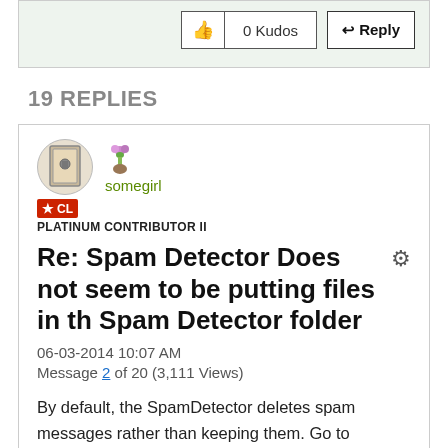[Figure (other): Top section with thumbs up icon, 0 Kudos button, and Reply button on green-tinted background]
19 REPLIES
[Figure (other): User avatar with book/door icon and flower icon for user somegirl, with CL badge and PLATINUM CONTRIBUTOR II label]
Re: Spam Detector Does not seem to be putting files in th Spam Detector folder
06-03-2014 10:07 AM
Message 2 of 20 (3,111 Views)
By default, the SpamDetector deletes spam messages rather than keeping them. Go to Settings > Email Settings > Spam Detector and click the radio button at the bottom that says Save spam in the SpamDetector